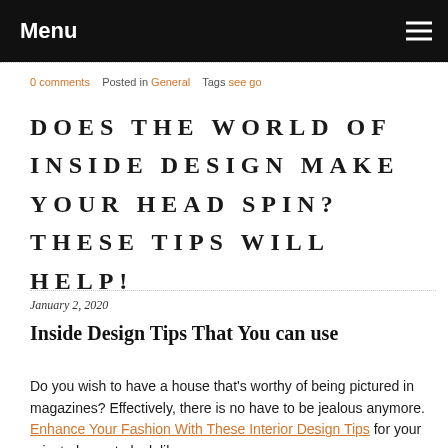Menu
0 comments   Posted in General   Tags see go
DOES THE WORLD OF INSIDE DESIGN MAKE YOUR HEAD SPIN? THESE TIPS WILL HELP!
January 2, 2020
Inside Design Tips That You can use
Do you wish to have a house that's worthy of being pictured in magazines? Effectively, there is no have to be jealous anymore. Enhance Your Fashion With These Interior Design Tips for your private home to look like